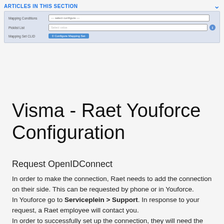ARTICLES IN THIS SECTION
[Figure (screenshot): UI screenshot showing configuration panel with Mapping Conditions, select configure dropdown, Picklist List input field with info icon, and Mapping Set CLID with 'Configure Mapping Set' button]
Visma - Raet Youforce Configuration
Request OpenIDConnect
In order to make the connection, Raet needs to add the connection on their side. This can be requested by phone or in Youforce.
In Youforce go to Serviceplein > Support. In response to your request, a Raet employee will contact you.
In order to successfully set up the connection, they will need the following data: